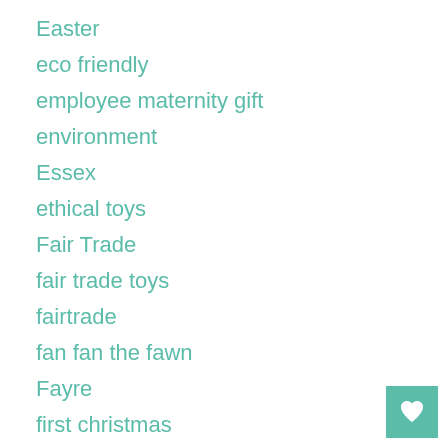Easter
eco friendly
employee maternity gift
environment
Essex
ethical toys
Fair Trade
fair trade toys
fairtrade
fan fan the fawn
Fayre
first christmas
first UK stockists